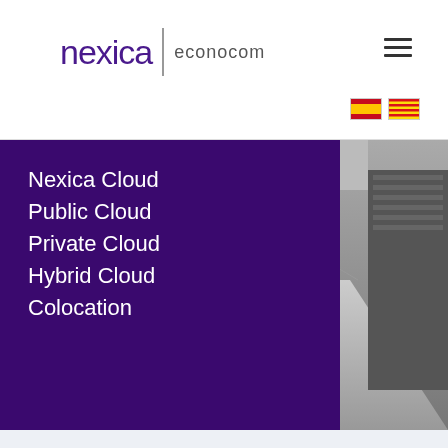[Figure (logo): Nexica | econocom logo in header with hamburger menu icon and language flag icons (Spanish and Catalan)]
Nexica Cloud
Public Cloud
Private Cloud
Hybrid Cloud
Colocation
[Figure (photo): Data center interior photograph showing server racks in a corridor perspective, in grayscale]
ENJOY THE SECURITY OF A TIER-3 DATA CENTRE